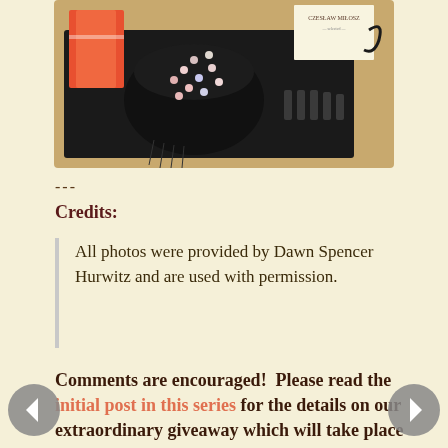[Figure (photo): Photo of a black beaded bag, small cosmetic vials, colorful books/packages on a dark tray surface]
---
Credits:
All photos were provided by Dawn Spencer Hurwitz and are used with permission.
Comments are encouraged!  Please read the initial post in this series for the details on our extraordinary giveaway which will take place on March 31